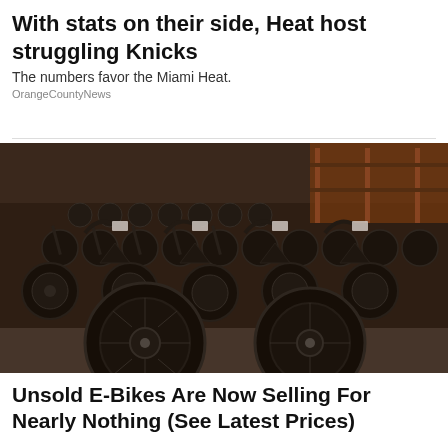With stats on their side, Heat host struggling Knicks
The numbers favor the Miami Heat.
OrangeCountyNews
[Figure (photo): Rows of black e-bikes parked in a warehouse/storage facility, viewed from a low angle showing large tires and handlebars. Red tape visible on the floor. Warehouse shelving in background.]
Unsold E-Bikes Are Now Selling For Nearly Nothing (See Latest Prices)